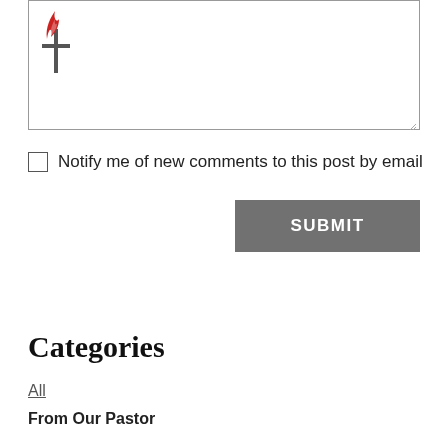[Figure (other): Text area input box with UMC cross-and-flame logo in top-left corner and resize handle in bottom-right corner]
Notify me of new comments to this post by email
SUBMIT
Categories
All
From Our Pastor